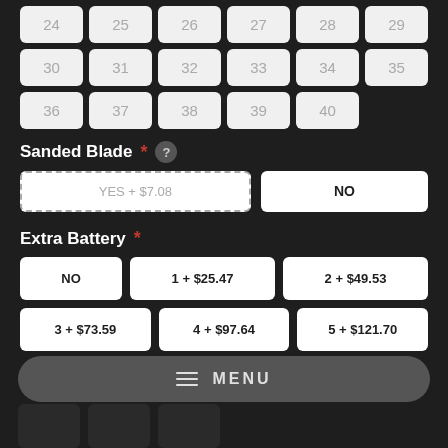24 25 26 27 28 29
30 31 32 33 34 35
36 37 38 39 40
Sanded Blade *
YES + $7.08
NO
Extra Battery *
NO
1 + $25.47
2 + $49.53
3 + $73.59
4 + $97.64
5 + $121.70
MENU